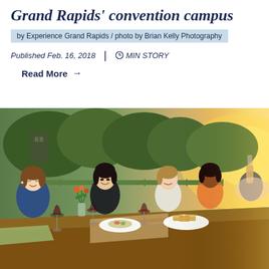Grand Rapids' convention campus
by Experience Grand Rapids / photo by Brian Kelly Photography
Published Feb. 16, 2018  |  ⏱  MIN STORY
Read More →
[Figure (photo): Group of people dining outdoors at a long wooden table on a rooftop or patio at sunset, with wine glasses, plates of food, flowers in vases, and trees in the background.]